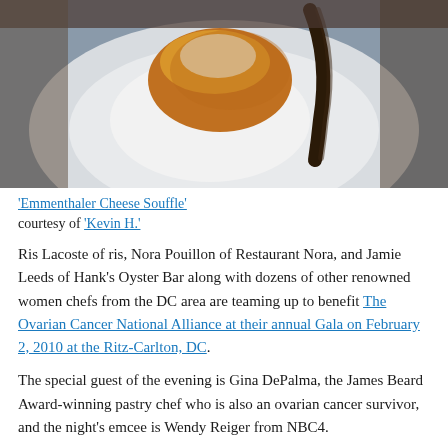[Figure (photo): Close-up photo of an Emmenthaler Cheese Souffle on a white plate with scalloped edges, with a dark spoon/fork visible.]
'Emmenthaler Cheese Souffle' courtesy of 'Kevin H.'
Ris Lacoste of ris, Nora Pouillon of Restaurant Nora, and Jamie Leeds of Hank’s Oyster Bar along with dozens of other renowned women chefs from the DC area are teaming up to benefit The Ovarian Cancer National Alliance at their annual Gala on February 2, 2010 at the Ritz-Carlton, DC.
The special guest of the evening is Gina DePalma, the James Beard Award-winning pastry chef who is also an ovarian cancer survivor, and the night’s emcee is Wendy Reiger from NBC4.